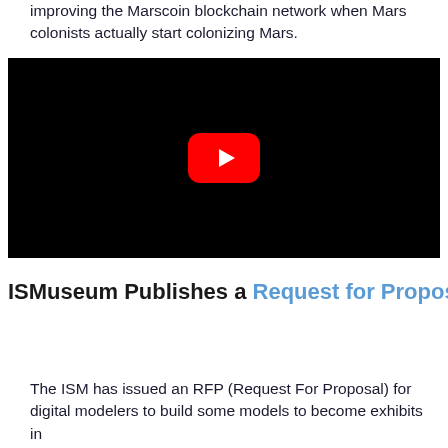improving the Marscoin blockchain network when Mars colonists actually start colonizing Mars.
[Figure (screenshot): Black video player with a red YouTube-style play button in the center]
ISMuseum Publishes a Request for Proposal
The ISM has issued an RFP (Request For Proposal) for digital modelers to build some models to become exhibits in